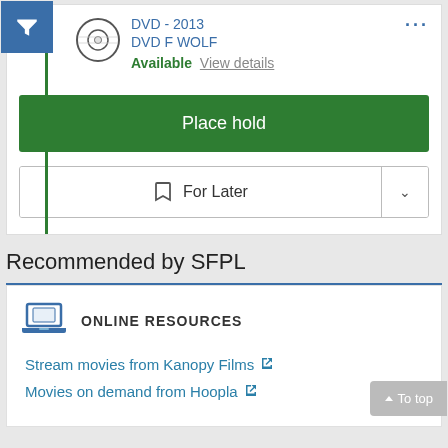DVD - 2013
DVD F WOLF
Available View details
Place hold
For Later
Recommended by SFPL
ONLINE RESOURCES
Stream movies from Kanopy Films
Movies on demand from Hoopla